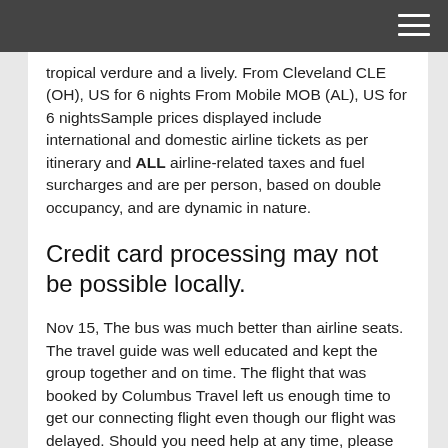tropical verdure and a lively. From Cleveland CLE (OH), US for 6 nights From Mobile MOB (AL), US for 6 nightsSample prices displayed include international and domestic airline tickets as per itinerary and ALL airline-related taxes and fuel surcharges and are per person, based on double occupancy, and are dynamic in nature.
Credit card processing may not be possible locally.
Nov 15, The bus was much better than airline seats. The travel guide was well educated and kept the group together and on time. The flight that was booked by Columbus Travel left us enough time to get our connecting flight even though our flight was delayed. Should you need help at any time, please